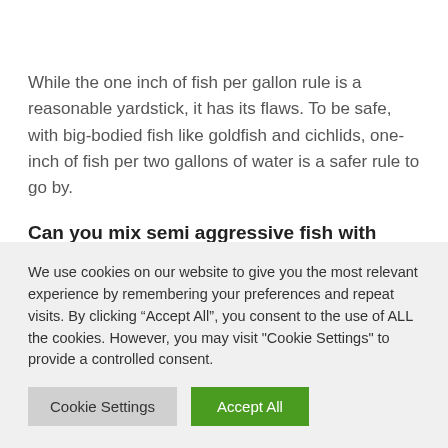[Figure (other): Hamburger menu icon (three horizontal lines) inside a square border]
While the one inch of fish per gallon rule is a reasonable yardstick, it has its flaws. To be safe, with big-bodied fish like goldfish and cichlids, one-inch of fish per two gallons of water is a safer rule to go by.
Can you mix semi aggressive fish with community fish?
We use cookies on our website to give you the most relevant experience by remembering your preferences and repeat visits. By clicking “Accept All”, you consent to the use of ALL the cookies. However, you may visit "Cookie Settings" to provide a controlled consent.